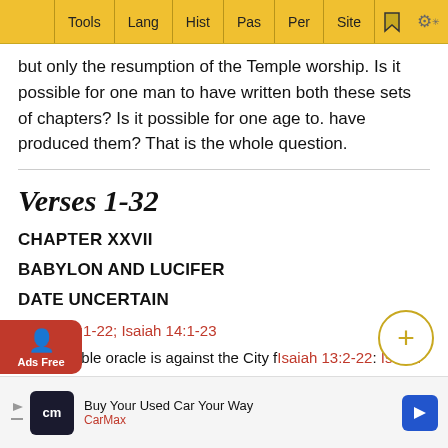Tools | Lang | Hist | Pas | Per | Site
but only the resumption of the Temple worship. Is it possible for one man to have written both these sets of chapters? Is it possible for one age to. have produced them? That is the whole question.
Verses 1-32
CHAPTER XXVII
BABYLON AND LUCIFER
DATE UNCERTAIN
Isaiah 13:1-22; Isaiah 14:1-23
THIS double oracle is against the City f Isaiah 13:2-22: Isaiah 14:1-
[Figure (other): CarMax advertisement banner: Buy Your Used Car Your Way - CarMax]
I THE